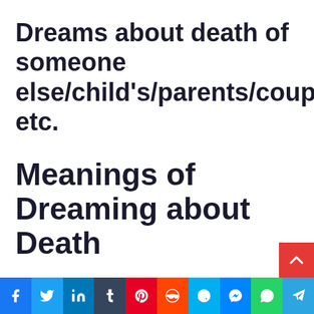Dreams about death of someone else/child’s/parents/couple’s etc.
Meanings of Dreaming about Death